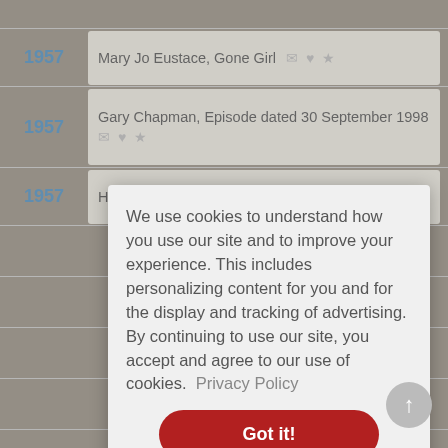1957 — Mary Jo Eustace, Gone Girl
1957 — Gary Chapman, Episode dated 30 September 1998
1957 — Helen Jarvis, Watchmen
We use cookies to understand how you use our site and to improve your experience. This includes personalizing content for you and for the display and tracking of advertising. By continuing to use our site, you accept and agree to our use of cookies. Privacy Policy
Got it!